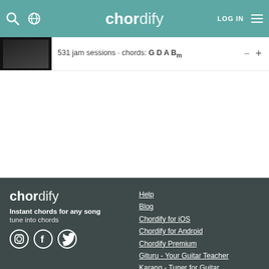chordify — LOG IN
531 jam sessions · chords: G D A Bm
[Figure (screenshot): Chordify website screenshot showing header, song bar, and footer with links]
chordify
Instant chords for any song
tune into chords
Help
Blog
Chordify for iOS
Chordify for Android
Chordify Premium
Gituru - Your Guitar Teacher
Karang - Tuner for Guitar
Music Dictionary
Chord Diagram Finder
Songs explained
Channels
About Chordify
Jobs
Press
Terms and Conditions